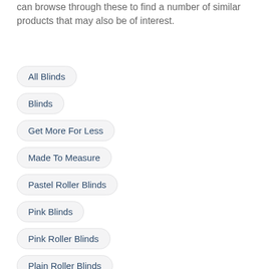can browse through these to find a number of similar products that may also be of interest.
All Blinds
Blinds
Get More For Less
Made To Measure
Pastel Roller Blinds
Pink Blinds
Pink Roller Blinds
Plain Roller Blinds